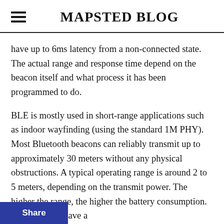MAPSTED BLOG
have up to 6ms latency from a non-connected state. The actual range and response time depend on the beacon itself and what process it has been programmed to do.
BLE is mostly used in short-range applications such as indoor wayfinding (using the standard 1M PHY). Most Bluetooth beacons can reliably transmit up to approximately 30 meters without any physical obstructions. A typical operating range is around 2 to 5 meters, depending on the transmit power. The higher the range, the higher the battery consumption. Now that you have a